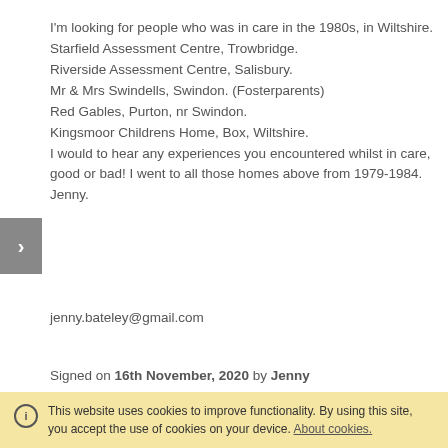I'm looking for people who was in care in the 1980s, in Wiltshire.
Starfield Assessment Centre, Trowbridge.
Riverside Assessment Centre, Salisbury.
Mr & Mrs Swindells, Swindon. (Fosterparents)
Red Gables, Purton, nr Swindon.
Kingsmoor Childrens Home, Box, Wiltshire.
I would to hear any experiences you encountered whilst in care, good or bad! I went to all those homes above from 1979-1984.
Jenny.

jenny.bateley@gmail.com
Signed on 16th November, 2020 by Jenny
Hi i am asking for my friend Simon who went to the paddocks childrens home in 1981-1983 and he also lost friends all d...
This website uses cookies to improve functionality. By using this site, you accept the use of cookies on your device. About cookies.